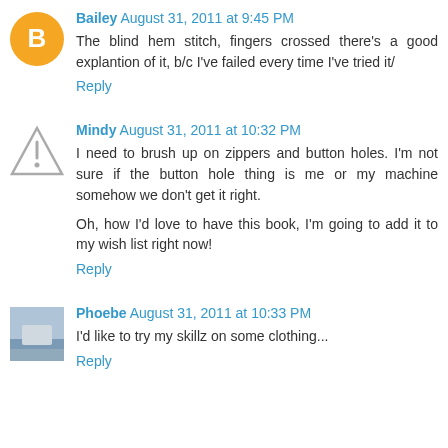Bailey August 31, 2011 at 9:45 PM
The blind hem stitch, fingers crossed there's a good explantion of it, b/c I've failed every time I've tried it/
Reply
Mindy August 31, 2011 at 10:32 PM
I need to brush up on zippers and button holes. I'm not sure if the button hole thing is me or my machine somehow we don't get it right.
Oh, how I'd love to have this book, I'm going to add it to my wish list right now!
Reply
Phoebe August 31, 2011 at 10:33 PM
I'd like to try my skillz on some clothing...
Reply